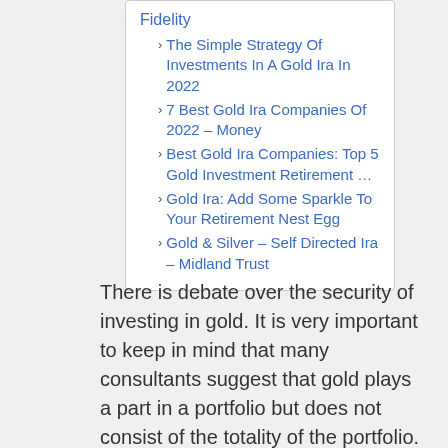Fidelity
The Simple Strategy Of Investments In A Gold Ira In 2022
7 Best Gold Ira Companies Of 2022 – Money
Best Gold Ira Companies: Top 5 Gold Investment Retirement …
Gold Ira: Add Some Sparkle To Your Retirement Nest Egg
Gold & Silver – Self Directed Ira – Midland Trust
There is debate over the security of investing in gold. It is very important to keep in mind that many consultants suggest that gold plays a part in a portfolio but does not consist of the totality of the portfolio. Supporters of gold IRA investing